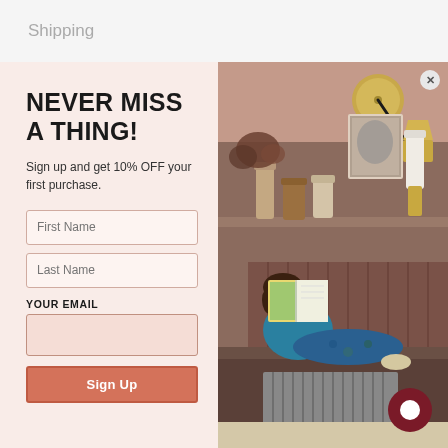Shipping
NEVER MISS A THING!
Sign up and get 10% OFF your first purchase.
[Figure (screenshot): Email signup modal with two-panel layout. Left panel (pink/salmon background) contains headline 'NEVER MISS A THING!', subtitle, First Name field, Last Name field, YOUR EMAIL label and email input field, and a salmon-colored Sign Up button. Right panel shows a photo of a woman in a teal outfit lying on a couch reading a book, in a warm-toned room with decorative vases, a gold lamp, and artwork. A close (X) button is in the top right corner of the photo panel. A dark red chat bubble appears in the bottom right.]